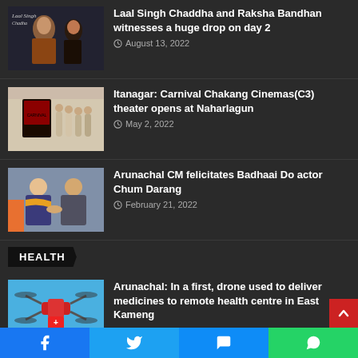Laal Singh Chaddha and Raksha Bandhan witnesses a huge drop on day 2 — August 13, 2022
Itanagar: Carnival Chakang Cinemas(C3) theater opens at Naharlagun — May 2, 2022
Arunachal CM felicitates Badhaai Do actor Chum Darang — February 21, 2022
HEALTH
Arunachal: In a first, drone used to deliver medicines to remote health centre in East Kameng